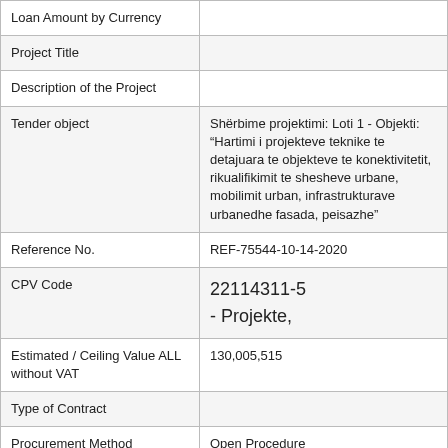| Loan Amount by Currency |  |
| Project Title |  |
| Description of the Project |  |
| Tender object | Shërbime projektimi: Loti 1 - Objekti: "Hartimi i projekteve teknike te detajuara te objekteve te konektivitetit, rikualifikimit te shesheve urbane, mobilimit urban, infrastrukturave urbanedhe fasada, peisazhe" |
| Reference No. | REF-75544-10-14-2020 |
| CPV Code | 22114311-5
- Projekte, |
| Estimated / Ceiling Value ALL without VAT | 130,005,515 |
| Type of Contract |  |
| Procurement Method | Open Procedure |
| Stage Procedure | Announced Procurement |